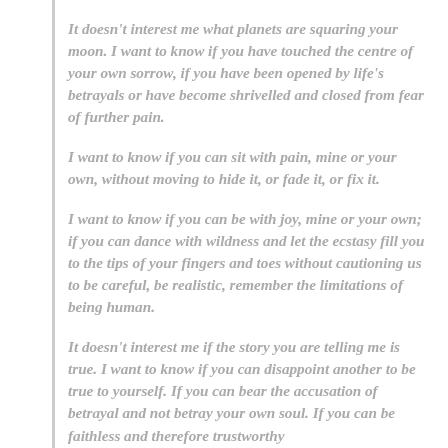It doesn't interest me what planets are squaring your moon. I want to know if you have touched the centre of your own sorrow, if you have been opened by life's betrayals or have become shrivelled and closed from fear of further pain.
I want to know if you can sit with pain, mine or your own, without moving to hide it, or fade it, or fix it.
I want to know if you can be with joy, mine or your own; if you can dance with wildness and let the ecstasy fill you to the tips of your fingers and toes without cautioning us to be careful, be realistic, remember the limitations of being human.
It doesn't interest me if the story you are telling me is true. I want to know if you can disappoint another to be true to yourself. If you can bear the accusation of betrayal and not betray your own soul. If you can be faithless and therefore trustworthy...